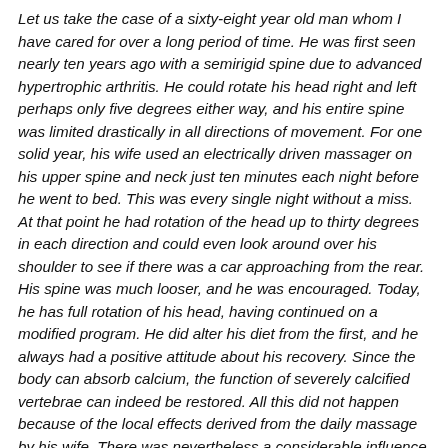Let us take the case of a sixty-eight year old man whom I have cared for over a long period of time. He was first seen nearly ten years ago with a semirigid spine due to advanced hypertrophic arthritis. He could rotate his head right and left perhaps only five degrees either way, and his entire spine was limited drastically in all directions of movement. For one solid year, his wife used an electrically driven massager on his upper spine and neck just ten minutes each night before he went to bed. This was every single night without a miss. At that point he had rotation of the head up to thirty degrees in each direction and could even look around over his shoulder to see if there was a car approaching from the rear. His spine was much looser, and he was encouraged. Today, he has full rotation of his head, having continued on a modified program. He did alter his diet from the first, and he always had a positive attitude about his recovery. Since the body can absorb calcium, the function of severely calcified vertebrae can indeed be restored. All this did not happen because of the local effects derived from the daily massage by his wife. There was nevertheless a considerable influence on the organs of assimilation◆the stomach, pancreas, liver, gallbladder, etc◆because of the neurological activity induced by the massage to the sympathetic ganglia in the upper dorsal area of the spine. Such phenomena are common...